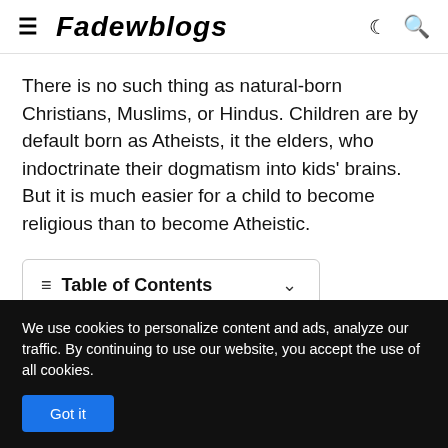≡ Fadewblogs ☾ 🔍
There is no such thing as natural-born Christians, Muslims, or Hindus. Children are by default born as Atheists, it the elders, who indoctrinate their dogmatism into kids' brains. But it is much easier for a child to become religious than to become Atheistic.
Table of Contents
We use cookies to personalize content and ads, analyze our traffic. By continuing to use our website, you accept the use of all cookies.
Got it